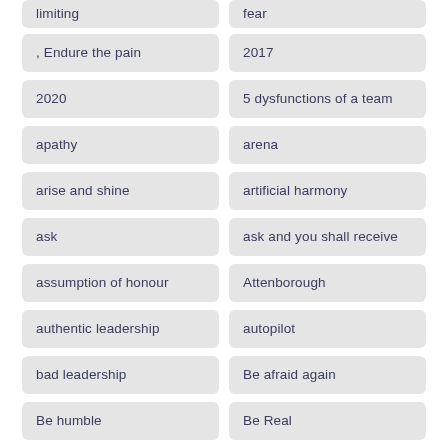limiting
fear
, Endure the pain
2017
2020
5 dysfunctions of a team
apathy
arena
arise and shine
artificial harmony
ask
ask and you shall receive
assumption of honour
Attenborough
authentic leadership
autopilot
bad leadership
Be afraid again
Be humble
Be Real